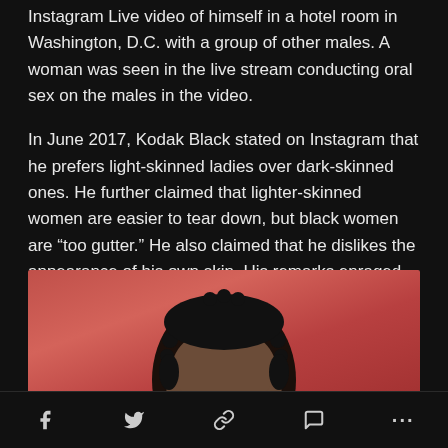Instagram Live video of himself in a hotel room in Washington, D.C. with a group of other males. A woman was seen in the live stream conducting oral sex on the males in the video.
In June 2017, Kodak Black stated on Instagram that he prefers light-skinned ladies over dark-skinned ones. He further claimed that lighter-skinned women are easier to tear down, but black women are “too gutter.” He also claimed that he dislikes the appearance of his own skin. His remarks enraged internet users, and he was compelled to deactivate his social media accounts.
[Figure (photo): Photo of a person with natural curly/coil hair against a reddish-orange background, cropped to show the top of the head and face.]